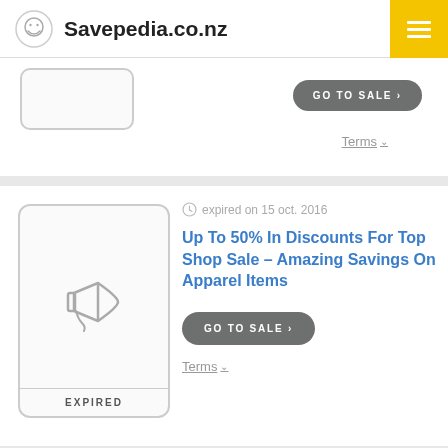Savepedia.co.nz
[Figure (screenshot): Partial top coupon card with a placeholder box and GO TO SALE button]
GO TO SALE ›
Terms ∨
[Figure (illustration): Expired coupon card with megaphone icon]
expired on 15 oct. 2016
Up To 50% In Discounts For Top Shop Sale – Amazing Savings On Apparel Items
GO TO SALE ›
Terms ∨